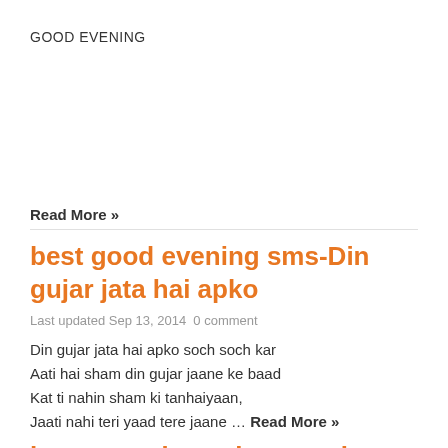GOOD EVENING
Read More »
best good evening sms-Din gujar jata hai apko
Last updated Sep 13, 2014  0 comment
Din gujar jata hai apko soch soch kar
Aati hai sham din gujar jaane ke baad
Kat ti nahin sham ki tanhaiyaan,
Jaati nahi teri yaad tere jaane … Read More »
latest good evening sms in hindi
Last updated Sep 13, 2014  0 comment
Chayi thandi ho gayi, garam kar lo,